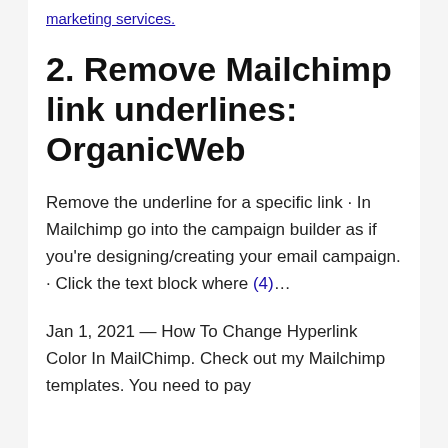marketing services.
2. Remove Mailchimp link underlines: OrganicWeb
Remove the underline for a specific link · In Mailchimp go into the campaign builder as if you're designing/creating your email campaign. · Click the text block where (4)…
Jan 1, 2021 — How To Change Hyperlink Color In MailChimp. Check out my Mailchimp templates. You need to pay